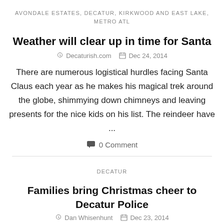AVONDALE ESTATES, DECATUR, KIRKWOOD AND EAST LAKE, METRO ATL
Weather will clear up in time for Santa
Decaturish.com  Dec 24, 2014
There are numerous logistical hurdles facing Santa Claus each year as he makes his magical trek around the globe, shimmying down chimneys and leaving presents for the nice kids on his list. The reindeer have ...
0 Comment
DECATUR
Families bring Christmas cheer to Decatur Police
Dan Whisenhunt  Dec 23, 2014
The tradition started a few years ago, Decatur Police Sgt.